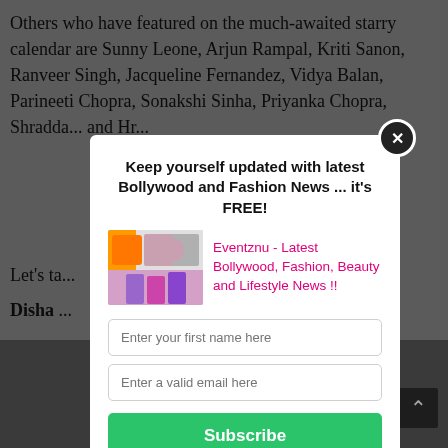Others who have featured on the much-awaited starry calendar are Sunny Leone, Arjun Rampal, Kriti Sanon, Ranveer Singh, Jacqueline Fernandez, Vidya Balan, Parineeti Chopra, Sonakshi Sinha, Priyanka Chopra, Shradha... and Hr...
Let's ta...
Disha ...
[Figure (screenshot): Modal popup overlay with newsletter subscription form. Contains title 'Keep yourself updated with latest Bollywood and Fashion News ... it's FREE!', brand logo image, brand text 'Eventznu - Latest Bollywood, Fashion, Beauty and Lifestyle News !!', two input fields for name and email, a green Subscribe button, and privacy note.]
Keep yourself updated with latest Bollywood and Fashion News ... it's FREE!
Eventznu - Latest Bollywood, Fashion, Beauty and Lifestyle News !!
Enter your first name here
Enter a valid email here
Subscribe
Your information will *never* be shared or sold to a 3rd party.